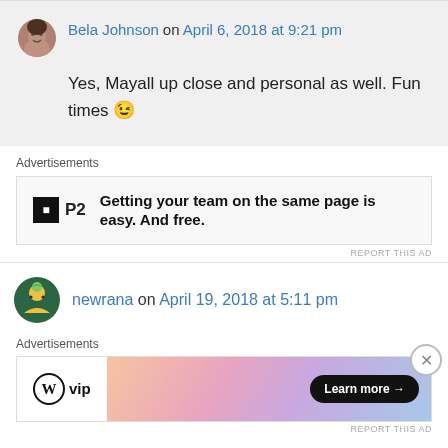Bela Johnson on April 6, 2018 at 9:21 pm
Yes, Mayall up close and personal as well. Fun times 😉
Advertisements
[Figure (screenshot): P2 advertisement banner: logo with black square icon and 'P2' text, with bold text 'Getting your team on the same page is easy. And free.']
REPORT THIS AD
newrana on April 19, 2018 at 5:11 pm
Advertisements
[Figure (screenshot): WordPress VIP advertisement with gradient banner and 'Learn more →' button]